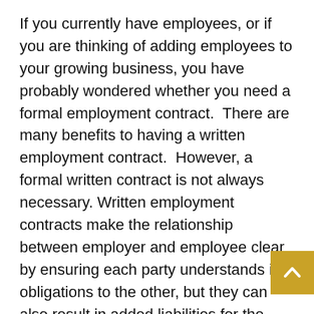If you currently have employees, or if you are thinking of adding employees to your growing business, you have probably wondered whether you need a formal employment contract.  There are many benefits to having a written employment contract.  However, a formal written contract is not always necessary.  Written employment contracts make the relationship between employer and employee clear by ensuring each party understands its obligations to the other, but they can also result in added liabilities for the employer.
The first questions to consider are how long you anticipate the employment relationship will be and how much discretion you want to separate employees from their employment with you. Generally, employment relationships in Montana are